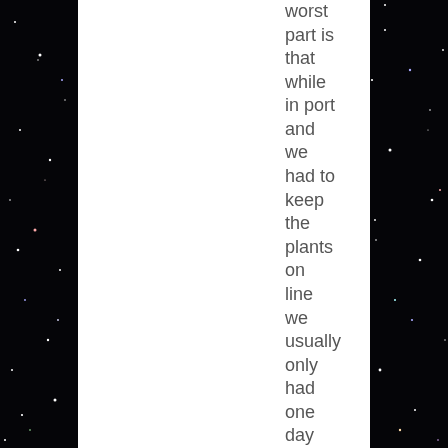[Figure (photo): Dark starfield/space background on left and right sides with a white document page region in the center-right area containing vertically stacked text words.]
worst part is that while in port and we had to keep the plants on line we usually only had one day off at a time (due to